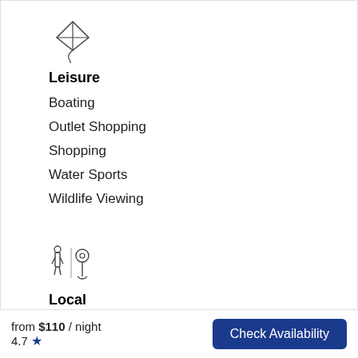[Figure (illustration): Kite icon illustration]
Leisure
Boating
Outlet Shopping
Shopping
Water Sports
Wildlife Viewing
[Figure (illustration): Local/map pin icon illustration]
Local
Fitness Center
Hospital
from $110 / night  4.7 ★  Check Availability